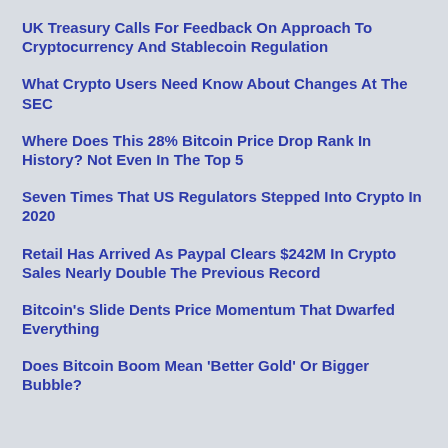UK Treasury Calls For Feedback On Approach To Cryptocurrency And Stablecoin Regulation
What Crypto Users Need Know About Changes At The SEC
Where Does This 28% Bitcoin Price Drop Rank In History? Not Even In The Top 5
Seven Times That US Regulators Stepped Into Crypto In 2020
Retail Has Arrived As Paypal Clears $242M In Crypto Sales Nearly Double The Previous Record
Bitcoin's Slide Dents Price Momentum That Dwarfed Everything
Does Bitcoin Boom Mean 'Better Gold' Or Bigger Bubble?